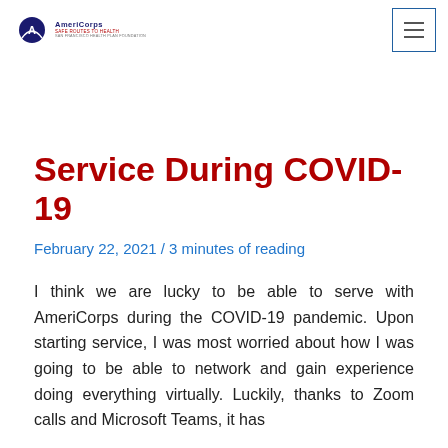AmeriCorps | Safe Routes to Health
Service During COVID-19
February 22, 2021 / 3 minutes of reading
I think we are lucky to be able to serve with AmeriCorps during the COVID-19 pandemic. Upon starting service, I was most worried about how I was going to be able to network and gain experience doing everything virtually. Luckily, thanks to Zoom calls and Microsoft Teams, it has